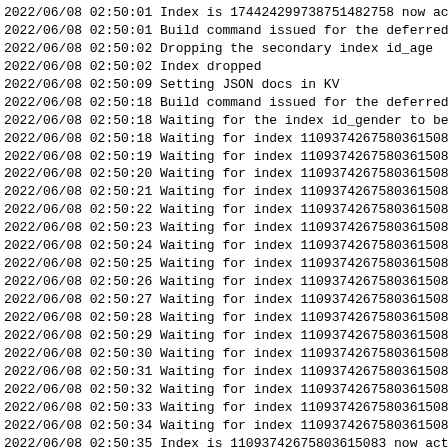2022/06/08 02:50:01 Index is 174424299738751482758 now act
2022/06/08 02:50:01 Build command issued for the deferred
2022/06/08 02:50:02 Dropping the secondary index id_age
2022/06/08 02:50:02 Index dropped
2022/06/08 02:50:09 Setting JSON docs in KV
2022/06/08 02:50:18 Build command issued for the deferred
2022/06/08 02:50:18 Waiting for the index id_gender to be
2022/06/08 02:50:18 Waiting for index 11093742675803615083
2022/06/08 02:50:19 Waiting for index 11093742675803615083
2022/06/08 02:50:20 Waiting for index 11093742675803615083
2022/06/08 02:50:21 Waiting for index 11093742675803615083
2022/06/08 02:50:22 Waiting for index 11093742675803615083
2022/06/08 02:50:23 Waiting for index 11093742675803615083
2022/06/08 02:50:24 Waiting for index 11093742675803615083
2022/06/08 02:50:25 Waiting for index 11093742675803615083
2022/06/08 02:50:26 Waiting for index 11093742675803615083
2022/06/08 02:50:27 Waiting for index 11093742675803615083
2022/06/08 02:50:28 Waiting for index 11093742675803615083
2022/06/08 02:50:29 Waiting for index 11093742675803615083
2022/06/08 02:50:30 Waiting for index 11093742675803615083
2022/06/08 02:50:31 Waiting for index 11093742675803615083
2022/06/08 02:50:32 Waiting for index 11093742675803615083
2022/06/08 02:50:33 Waiting for index 11093742675803615083
2022/06/08 02:50:34 Waiting for index 11093742675803615083
2022/06/08 02:50:35 Index is 11093742675803615083 now act
2022/06/08 02:50:35 Using n1ql client
2022/06/08 02:50:36 Expected and Actual scan responses an
2022/06/08 02:50:36 Using n1ql client
2022/06/08 02:50:38 Expected and Actual scan responses an
--- PASS: TestDropSecondIndexSecondDeferBuilding (58.72s